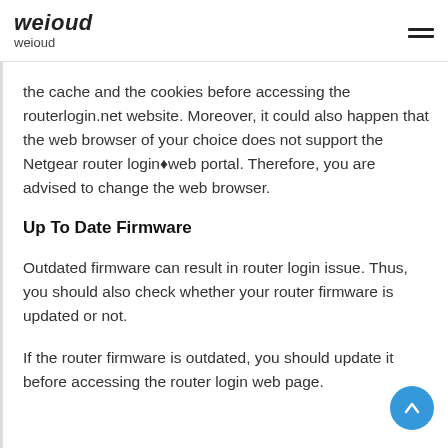weioud
weioud
the cache and the cookies before accessing the routerlogin.net website. Moreover, it could also happen that the web browser of your choice does not support the Netgear router login◆web portal. Therefore, you are advised to change the web browser.
Up To Date Firmware
Outdated firmware can result in router login issue. Thus, you should also check whether your router firmware is updated or not.
If the router firmware is outdated, you should update it before accessing the router login web page.